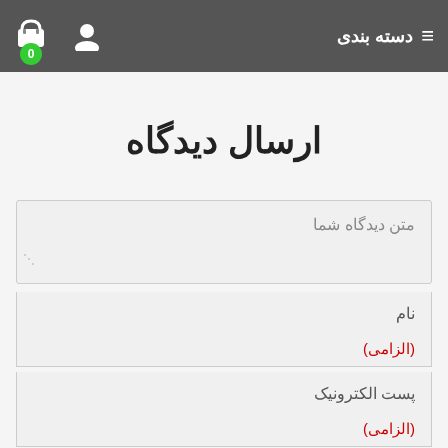دسته بندی
ارسال دیدگاه
متن دیدگاه شما
نام
(الزامی)
پست الکترونیک
(الزامی)